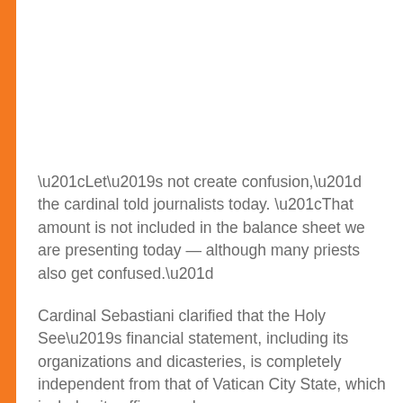“Let’s not create confusion,” the cardinal told journalists today. “That amount is not included in the balance sheet we are presenting today — although many priests also get confused.”
Cardinal Sebastiani clarified that the Holy See’s financial statement, including its organizations and dicasteries, is completely independent from that of Vatican City State, which includes its offices and museums.